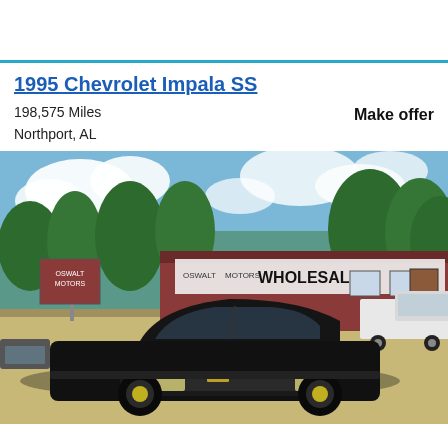1995 Chevrolet Impala SS
198,575 Miles
Northport, AL
Make offer
[Figure (photo): 1995 Chevrolet Impala SS, black sedan, parked in front of Oswalt Motors Wholesale dealership, Northport AL. Blue sky with clouds, trees in background, white pickup truck visible on right.]